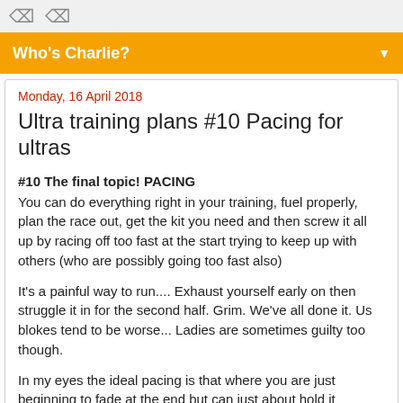Who's Charlie? ▼
Monday, 16 April 2018
Ultra training plans #10 Pacing for ultras
#10 The final topic! PACING
You can do everything right in your training, fuel properly, plan the race out, get the kit you need and then screw it all up by racing off too fast at the start trying to keep up with others (who are possibly going too fast also)
It's a painful way to run.... Exhaust yourself early on then struggle it in for the second half. Grim. We've all done it. Us blokes tend to be worse... Ladies are sometimes guilty too though.
In my eyes the ideal pacing is that where you are just beginning to fade at the end but can just about hold it together. IF you do a massive 'negative split' eg run the second half loads faster than the first, you probably weren't running hard enough initially. If you get to halfway or 80% through then crash and burn, enjoy the rest